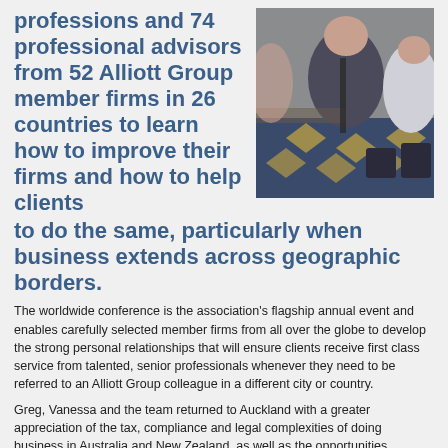professions and 74 professional advisors from 52 Alliott Group member firms in 26 countries to learn how to improve their firms and how to help clients to do the same, particularly when business extends across geographic borders.
[Figure (photo): Photo of people seated at a conference table or event, taken from above/side angle, with patterned blue and gold carpet visible]
The worldwide conference is the association's flagship annual event and enables carefully selected member firms from all over the globe to develop the strong personal relationships that will ensure clients receive first class service from talented, senior professionals whenever they need to be referred to an Alliott Group colleague in a different city or country.
Greg, Vanessa and the team returned to Auckland with a greater appreciation of the tax, compliance and legal complexities of doing business in Australia and New Zealand, as well as the opportunities presented by Australia's open economy. According to Austrade, the Australian Government's Trade & Investment Commission, Australia is the world's 12th largest economy with GDP of US$1.2trillion and is 'forecast to